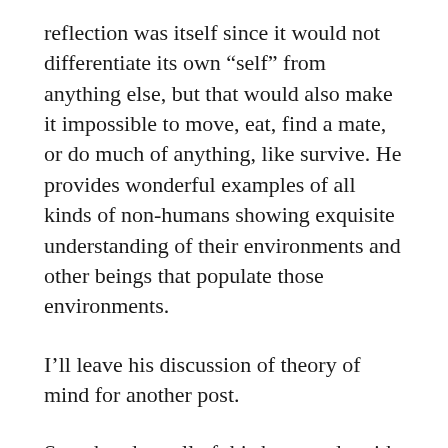reflection was itself since it would not differentiate its own “self” from anything else, but that would also make it impossible to move, eat, find a mate, or do much of anything, like survive. He provides wonderful examples of all kinds of non-humans showing exquisite understanding of their environments and other beings that populate those environments.
I’ll leave his discussion of theory of mind for another post.
So, what does all of this have to do with Jana? In a long-ago post, I described Jana’s experience with the mirror test, and I described her as not only self-aware but also as self-absorbed. While this might be true, I did not give her enough